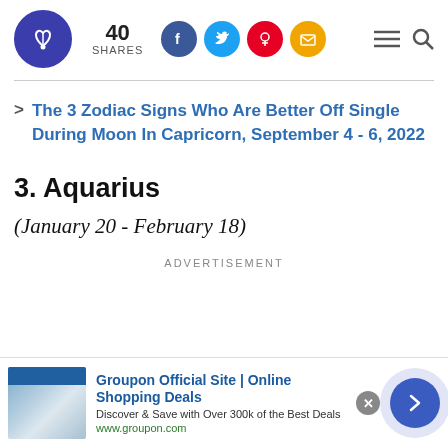Logo | 40 SHARES | Facebook | Twitter | Pinterest | Email | Menu | Search
The 3 Zodiac Signs Who Are Better Off Single During Moon In Capricorn, September 4 - 6, 2022
3. Aquarius
(January 20 - February 18)
ADVERTISEMENT
[Figure (screenshot): Advertisement banner for Groupon Official Site | Online Shopping Deals. Discover & Save with Over 300k of the Best Deals. www.groupon.com]